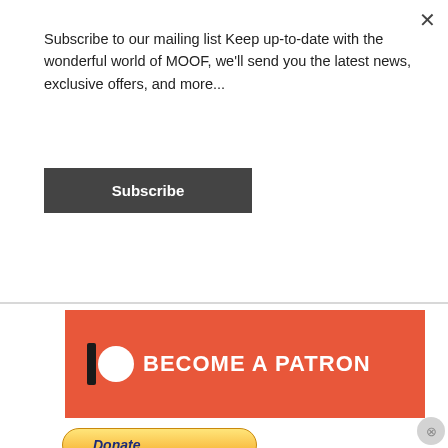Subscribe to our mailing list Keep up-to-date with the wonderful world of MOOF, we'll send you the latest news, exclusive offers, and more...
Subscribe
[Figure (infographic): Patreon banner with logo (vertical bar and circle) and text: BECOME A PATRON on orange/red background]
[Figure (infographic): PayPal Donate button with payment method icons: MasterCard, Maestro, VISA, VISA Electron, American Express, Direct Debit]
Advertisements
[Figure (infographic): Day One app advertisement banner: Your Journal for life, with DAY ONE logo on sky blue background]